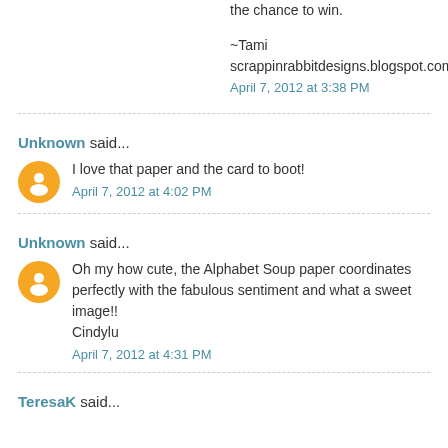the chance to win.

~Tami
scrappinrabbitdesigns.blogspot.com
April 7, 2012 at 3:38 PM
Unknown said...
I love that paper and the card to boot!
April 7, 2012 at 4:02 PM
Unknown said...
Oh my how cute, the Alphabet Soup paper coordinates perfectly with the fabulous sentiment and what a sweet image!!
Cindylu
April 7, 2012 at 4:31 PM
TeresaK said...